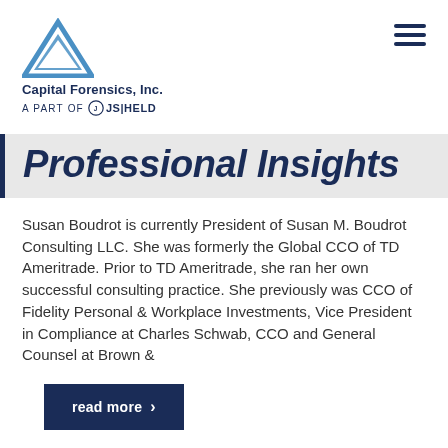[Figure (logo): Capital Forensics, Inc. logo with blue triangle above company name, and 'A PART OF JS|HELD' tagline below]
Professional Insights
Susan Boudrot is currently President of Susan M. Boudrot Consulting LLC. She was formerly the Global CCO of TD Ameritrade. Prior to TD Ameritrade, she ran her own successful consulting practice. She previously was CCO of Fidelity Personal & Workplace Investments, Vice President in Compliance at Charles Schwab, CCO and General Counsel at Brown &
read more >